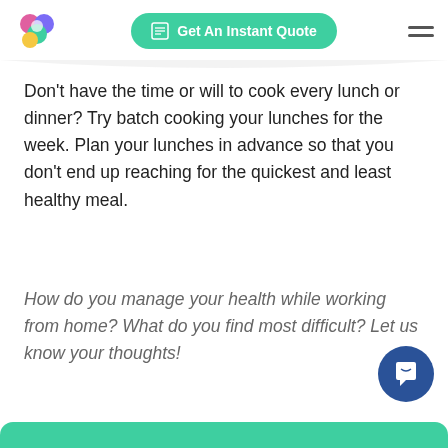[Figure (logo): Colorful flower/circle logo with pink, blue, teal, and yellow circles]
[Figure (other): Green rounded button with calculator icon saying Get An Instant Quote]
Don't have the time or will to cook every lunch or dinner? Try batch cooking your lunches for the week. Plan your lunches in advance so that you don't end up reaching for the quickest and least healthy meal.
How do you manage your health while working from home? What do you find most difficult? Let us know your thoughts!